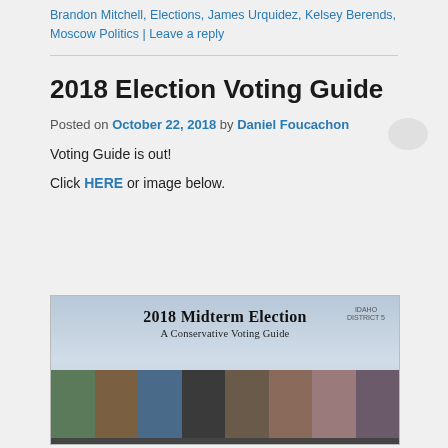Brandon Mitchell, Elections, James Urquidez, Kelsey Berends, Moscow Politics | Leave a reply
2018 Election Voting Guide
Posted on October 22, 2018 by Daniel Foucachon
Voting Guide is out!
Click HERE or image below.
[Figure (photo): 2018 Midterm Election A Conservative Voting Guide banner image with photos of 8 candidates, Idaho District 5 badge, prepared by Daniel Foucachon]